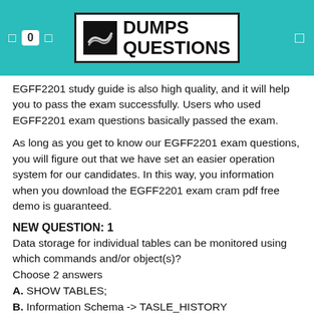DUMPS QUESTIONS
EGFF2201 study guide is also high quality, and it will help you to pass the exam successfully. Users who used EGFF2201 exam questions basically passed the exam.
As long as you get to know our EGFF2201 exam questions, you will figure out that we have set an easier operation system for our candidates. In this way, you information when you download the EGFF2201 exam cram pdf free demo is guaranteed.
NEW QUESTION: 1
Data storage for individual tables can be monitored using which commands and/or object(s)?
Choose 2 answers
A. SHOW TABLES;
B. Information Schema -> TASLE_HISTORY
C. Information Schema -> TABLE_STORAGE_METRICS